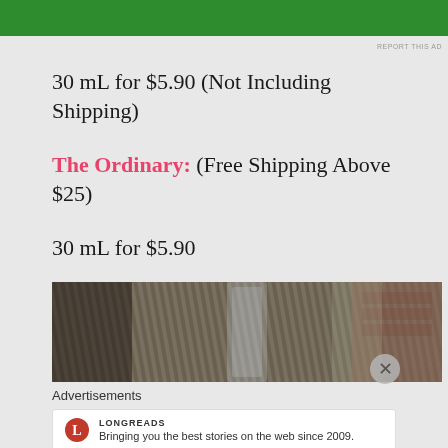[Figure (other): Green advertisement banner at top of page]
30 mL for $5.90 (Not Including Shipping)
The Ordinary: (Free Shipping Above $25)
30 mL for $5.90
60 mL for $10.60
[Figure (photo): Close-up photo of a glass bottle on striped fabric near a window with brick wall visible]
Advertisements
[Figure (other): Longreads advertisement: Bringing you the best stories on the web since 2009.]